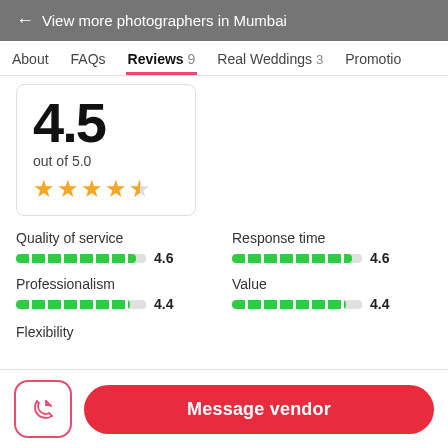← View more photographers in Mumbai
About  FAQs  Reviews 9  Real Weddings 3  Promotion
[Figure (infographic): Rating display: 4.5 out of 5.0 with 4.5 star rating shown using filled and half stars]
Quality of service
[Figure (infographic): Segmented progress bar showing 4.6 rating for Quality of service]
Response time
[Figure (infographic): Segmented progress bar showing 4.6 rating for Response time]
Professionalism
[Figure (infographic): Segmented progress bar showing 4.4 rating for Professionalism]
Value
[Figure (infographic): Segmented progress bar showing 4.4 rating for Value]
Flexibility
Message vendor